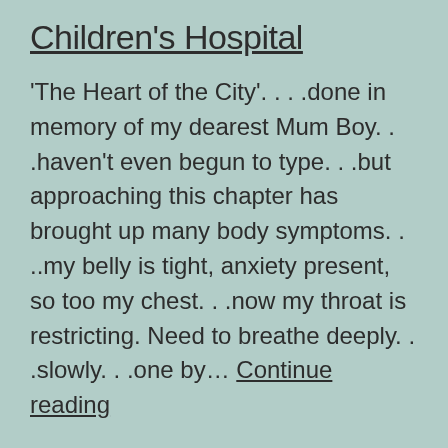Children's Hospital
'The Heart of the City'. . . .done in memory of my dearest Mum Boy. . .haven't even begun to type. . .but approaching this chapter has brought up many body symptoms. . ..my belly is tight, anxiety present, so too my chest. . .now my throat is restricting. Need to breathe deeply. . .slowly. . .one by… Continue reading